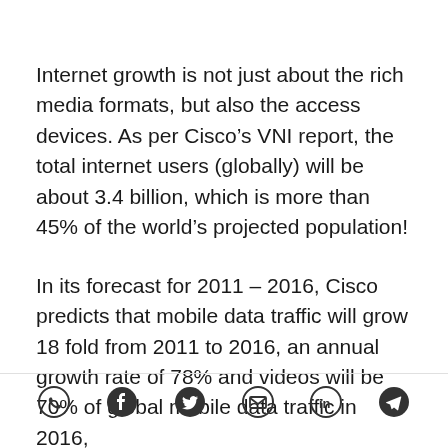Internet growth is not just about the rich media formats, but also the access devices. As per Cisco's VNI report, the total internet users (globally) will be about 3.4 billion, which is more than 45% of the world's projected population!
In its forecast for 2011 – 2016, Cisco predicts that mobile data traffic will grow 18 fold from 2011 to 2016, an annual growth rate of 78% and videos will be 70% of global mobile data traffic in 2016,
[Figure (other): Social sharing icons row: WhatsApp, Facebook, Twitter, Email, LinkedIn, Telegram]